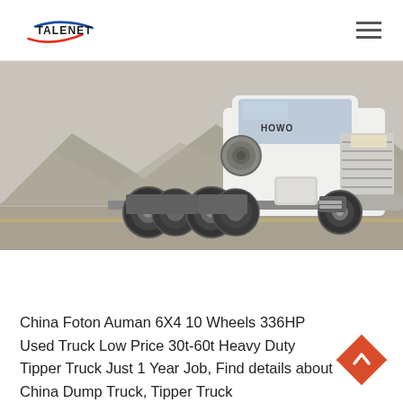TALENET
[Figure (photo): White HOWO Sinotruck 6x4 heavy duty tractor truck / semi-truck photographed on a road with mountains in the background]
China Foton Auman 6X4 10 Wheels 336HP Used Truck Low Price 30t-60t Heavy Duty Tipper Truck Just 1 Year Job, Find details about China Dump Truck, Tipper Truck